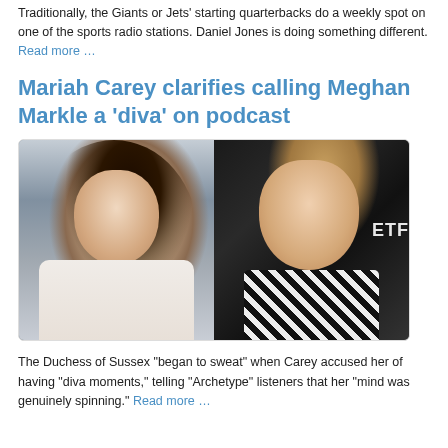Traditionally, the Giants or Jets' starting quarterbacks do a weekly spot on one of the sports radio stations. Daniel Jones is doing something different. Read more …
Mariah Carey clarifies calling Meghan Markle a 'diva' on podcast
[Figure (photo): Side-by-side photo of Meghan Markle (left, wearing white outfit, clapping and smiling) and Mariah Carey (right, wearing black and white checkered outfit, smiling at a Netflix event)]
The Duchess of Sussex "began to sweat" when Carey accused her of having "diva moments," telling "Archetype" listeners that her "mind was genuinely spinning." Read more …